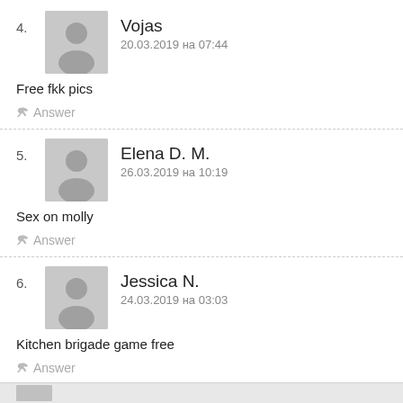4. Vojas — 20.03.2019 на 07:44 — Free fkk pics
5. Elena D. M. — 26.03.2019 на 10:19 — Sex on molly
6. Jessica N. — 24.03.2019 на 03:03 — Kitchen brigade game free